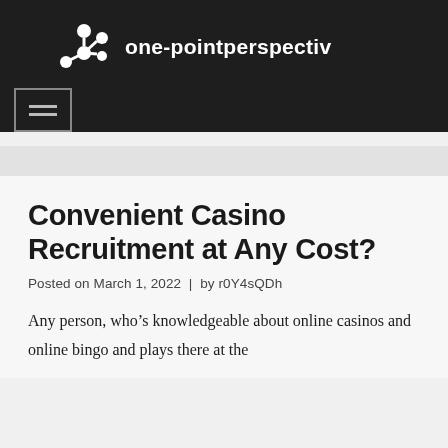one-pointperspectiv
Convenient Casino Recruitment at Any Cost?
Posted on March 1, 2022  |  by r0Y4sQDh
Any person, who’s knowledgeable about online casinos and online bingo and plays there at the